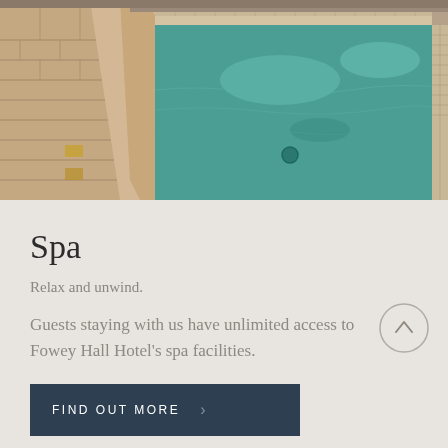[Figure (photo): Indoor swimming pool with teal/turquoise water, brick surround on the left side and mosaic tile edging. The pool has a calm reflective surface with ceiling lights reflected in the water.]
Spa
Relax and unwind.
Guests staying with us have unlimited access to Fowey Hall Hotel's spa facilities.
FIND OUT MORE